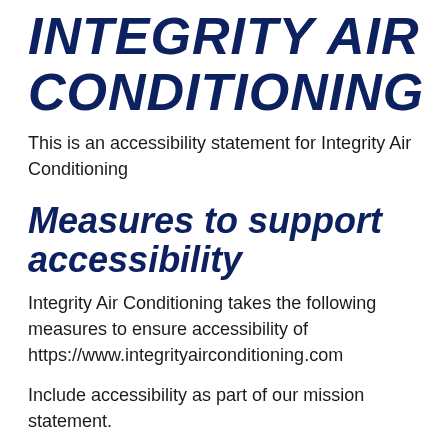INTEGRITY AIR CONDITIONING
This is an accessibility statement for Integrity Air Conditioning
Measures to support accessibility
Integrity Air Conditioning takes the following measures to ensure accessibility of https://www.integrityairconditioning.com
Include accessibility as part of our mission statement.
Include accessibility throughout our internal policies.
Integrate accessibility into...